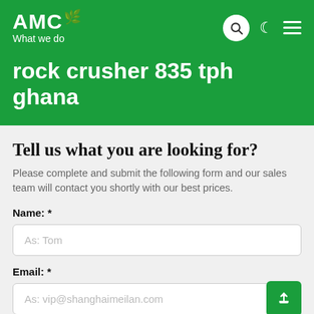AMC — What we do
rock crusher 835 tph ghana
Tell us what you are looking for?
Please complete and submit the following form and our sales team will contact you shortly with our best prices.
Name: *
As: Tom
Email: *
As: vip@shanghaimeilan.com
Phone: *
With Country Code